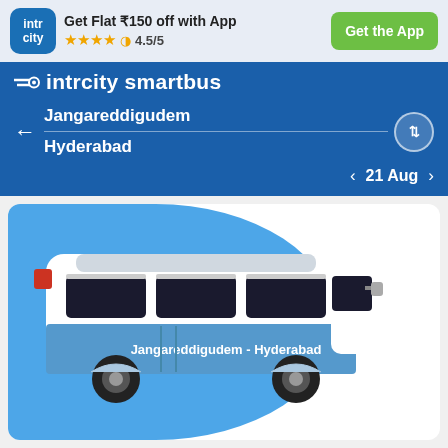[Figure (screenshot): IntrCity app logo - blue rounded square with 'intr city' text in white]
Get Flat ₹150 off with App
★★★★½ 4.5/5
Get the App
intrcity smartbus
Jangareddigudem
Hyderabad
< 21 Aug >
[Figure (illustration): Illustration of a blue and white intercity bus with text 'Jangareddigudem - Hyderabad' on its side, on a blue background card]
Trip Overview